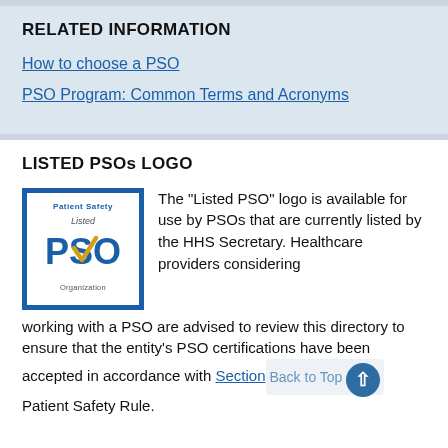RELATED INFORMATION
How to choose a PSO
PSO Program: Common Terms and Acronyms
LISTED PSOs LOGO
[Figure (logo): Listed PSO Organization logo — blue bordered box with 'Patient Safety' at top, 'Listed' italic text, large blue 'PSO' text with gold/yellow checkmark, 'Organization' at bottom]
The "Listed PSO" logo is available for use by PSOs that are currently listed by the HHS Secretary. Healthcare providers considering working with a PSO are advised to review this directory to ensure that the entity's PSO certifications have been accepted in accordance with Section 3.104(a) of the Patient Safety Rule.